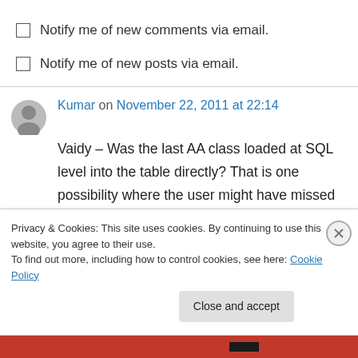Notify me of new comments via email.
Notify me of new posts via email.
Kumar on November 22, 2011 at 22:14
Vaidy – Was the last AA class loaded at SQL level into the table directly? That is one possibility where the user might have missed updating the record in the AAG00102 table. Which version of CR and SR are you on?
Privacy & Cookies: This site uses cookies. By continuing to use this website, you agree to their use.
To find out more, including how to control cookies, see here: Cookie Policy
Close and accept